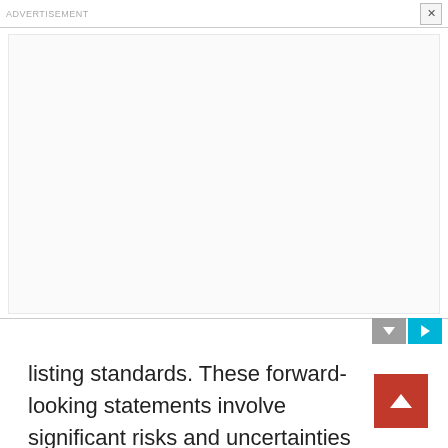ADVERTISEMENT
[Figure (other): Advertisement banner area, blank/white with light border]
listing standards. These forward-looking statements involve significant risks and uncertainties that could cause actual results to differ materially from expected results. Most of